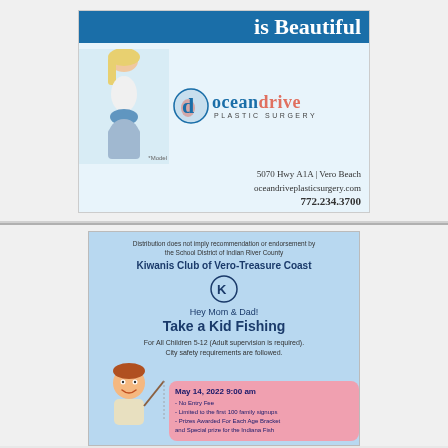[Figure (illustration): Ocean Drive Plastic Surgery advertisement. Features a female model, the Ocean Drive logo with a 'd' icon, text 'is Beautiful', address '5070 Hwy A1A | Vero Beach', website 'oceandriveplasticsurgery.com', phone '772.234.3700', and '*Model' disclaimer.]
[Figure (illustration): Kiwanis Club of Vero-Treasure Coast 'Take a Kid Fishing' event flyer. Includes disclaimer text, Kiwanis logo, event details for May 14, 2022 9:00 am, cartoon child illustration, and pink info box with bullet points about no entry fee, limited to first 100 family signups, prizes for each age bracket, and special prize for the Indiana Fish.]